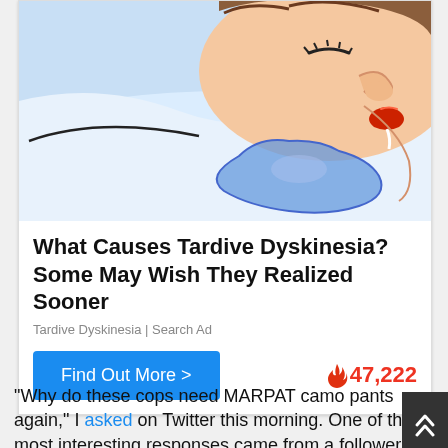[Figure (illustration): Cartoon illustration of a person sleeping sideways with red lips, blue drool puddle on a white pillow — advertising image for Tardive Dyskinesia search ad]
What Causes Tardive Dyskinesia? Some May Wish They Realized Sooner
Tardive Dyskinesia | Search Ad
Find Out More >
47,222
"Why do these cops need MARPAT camo pants again," I asked on Twitter this morning. One of the most interesting responses came from a follower